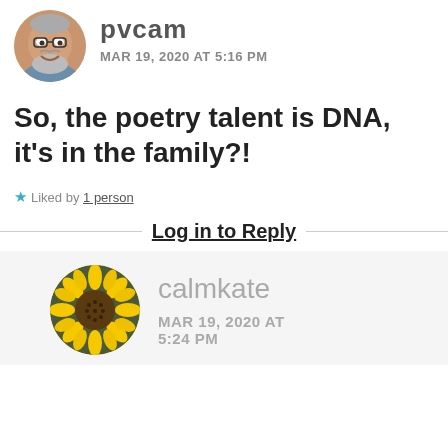[Figure (photo): Circular avatar photo of a smiling older man with glasses and grey beard]
pvcam
MAR 19, 2020 AT 5:16 PM
So, the poetry talent is DNA, it's in the family?!
★ Liked by 1 person
Log in to Reply
[Figure (photo): Circular avatar photo of a yellow sunflower]
calmkate
MAR 19, 2020 AT 5:24 PM